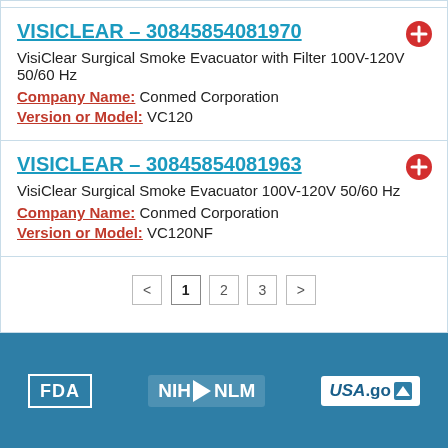VISICLEAR – 30845854081970
VisiClear Surgical Smoke Evacuator with Filter 100V-120V 50/60 Hz
Company Name: Conmed Corporation
Version or Model: VC120
VISICLEAR – 30845854081963
VisiClear Surgical Smoke Evacuator 100V-120V 50/60 Hz
Company Name: Conmed Corporation
Version or Model: VC120NF
< 1 2 3 >
FDA | NIH NLM | USA.gov